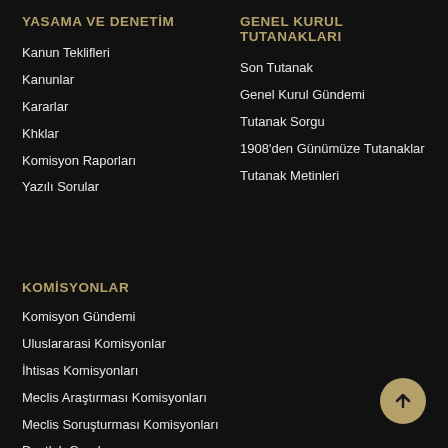YASAMA VE DENETİM
Kanun Teklifleri
Kanunlar
Kararlar
Khklar
Komisyon Raporları
Yazılı Sorular
GENEL KURUL TUTANAKLARI
Son Tutanak
Genel Kurul Gündemi
Tutanak Sorgu
1908'den Günümüze Tutanaklar
Tutanak Metinleri
KOMİSYONLAR
Komisyon Gündemi
Uluslararasi Komisyonlar
İhtisas Komisyonları
Meclis Araştırması Komisyonları
Meclis Soruşturması Komisyonları
Dostluk Grupları